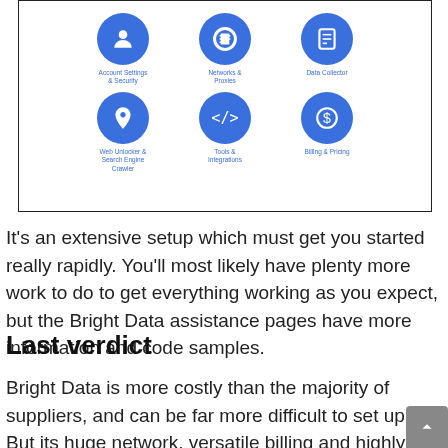[Figure (screenshot): Screenshot of a Bright Data admin interface showing a 2×3 grid of blue circular icons with labels: Account Settings & Security, Networks & Proxies, Data Collector (top row); Web Unlocker & Search Engine Crawler, Tools & Integrations, Billing & Pricing (bottom row).]
It's an extensive setup which must get you started really rapidly. You'll most likely have plenty more work to do to get everything working as you expect, but the Bright Data assistance pages have more information and code samples.
Last verdict
Bright Data is more costly than the majority of suppliers, and can be far more difficult to set up. But its huge network, versatile billing and highly powerful and configurable tool